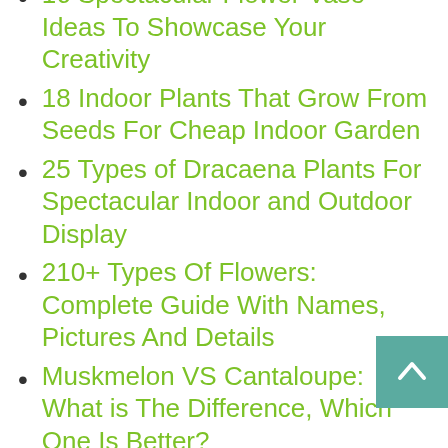16 Spectacular Flower Vase Ideas To Showcase Your Creativity
18 Indoor Plants That Grow From Seeds For Cheap Indoor Garden
25 Types of Dracaena Plants For Spectacular Indoor and Outdoor Display
210+ Types Of Flowers: Complete Guide With Names, Pictures And Details
Muskmelon VS Cantaloupe: What is The Difference, Which One Is Better?
37 Container Garden Ideas: Inspiration For Every Season
15 Types of Papaya With Most Delicious Taste 2022